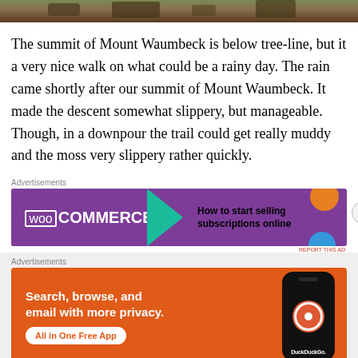[Figure (photo): Partial photo strip showing ground/nature scene at top of page]
The summit of Mount Waumbeck is below tree-line, but it a very nice walk on what could be a rainy day. The rain came shortly after our summit of Mount Waumbeck. It made the descent somewhat slippery, but manageable. Though, in a downpour the trail could get really muddy and the moss very slippery rather quickly.
Advertisements
[Figure (screenshot): WooCommerce advertisement: How to start selling subscriptions online]
Advertisements
[Figure (screenshot): DuckDuckGo advertisement: Search, browse, and email with more privacy. All in One Free App]